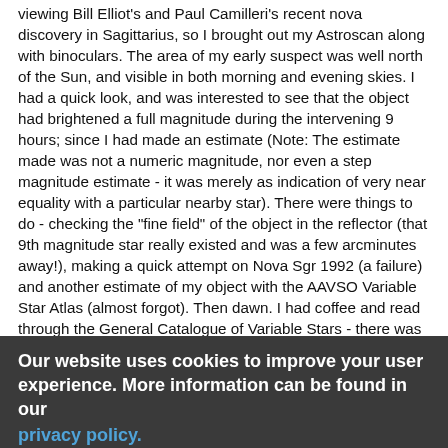viewing Bill Elliot's and Paul Camilleri's recent nova discovery in Sagittarius, so I brought out my Astroscan along with binoculars. The area of my early suspect was well north of the Sun, and visible in both morning and evening skies. I had a quick look, and was interested to see that the object had brightened a full magnitude during the intervening 9 hours; since I had made an estimate (Note: The estimate made was not a numeric magnitude, nor even a step magnitude estimate - it was merely as indication of very near equality with a particular nearby star). There were things to do - checking the "fine field" of the object in the reflector (that 9th magnitude star really existed and was a few arcminutes away!), making a quick attempt on Nova Sgr 1992 (a failure) and another estimate of my object with the AAVSO Variable Star Atlas (almost forgot). Then dawn. I had coffee and read through the General Catalogue of Variable Stars - there was nothing there. The combination of brilliancy, no motion, and high ecliptic latitude ruled out minor/major planets. I went to the office and checked my Vehrenberg Photographic Atlas - there was no reasonable candidate. After working out some kind of position, I called
Our website uses cookies to improve your user experience. More information can be found in our privacy policy.